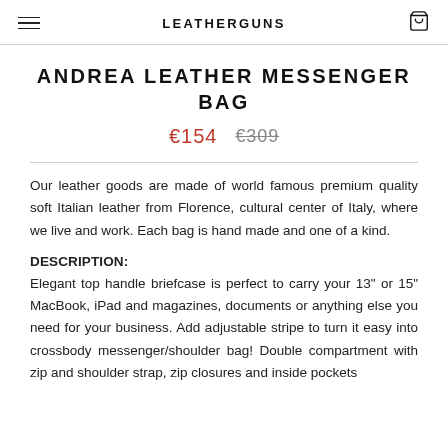LEATHERGUNS
ANDREA LEATHER MESSENGER BAG
€154   €309
Our leather goods are made of world famous premium quality soft Italian leather from Florence, cultural center of Italy, where we live and work. Each bag is hand made and one of a kind.
DESCRIPTION:
Elegant top handle briefcase is perfect to carry your 13" or 15" MacBook, iPad and magazines, documents or anything else you need for your business. Add adjustable stripe to turn it easy into crossbody messenger/shoulder bag! Double compartment with zip and shoulder strap, zip closures and inside pockets